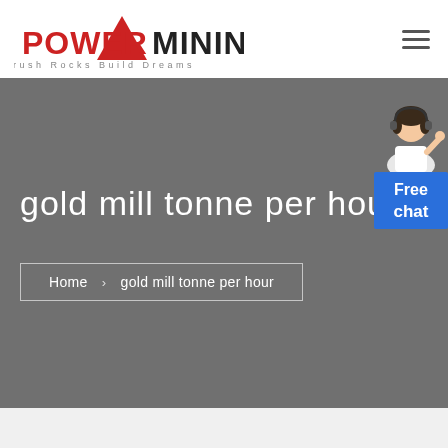[Figure (logo): Power Mining logo with red triangle and text 'POWER MINING' and tagline 'Crush Rocks Build Dreams']
gold mill tonne per hour
Home > gold mill tonne per hour
[Figure (illustration): Customer service representative figure with Free chat button widget]